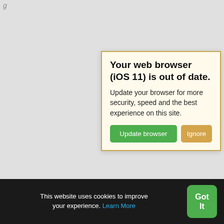[Figure (screenshot): Browser update warning popup dialog with yellow-cream background and gold border. Title: 'Your web browser (iOS 11) is out of date.' Body: 'Update your browser for more security, speed and the best experience on this site.' Two buttons: green 'Update browser' and tan/orange 'Ignore'.]
New live s... Get instant quotes online.
My Account
Latest Prices
Japanese Parts
Van Parts
4x4 Parts
Campervan Parts
About Us
Contact Us
This website uses cookies to improve your experience. Learn More